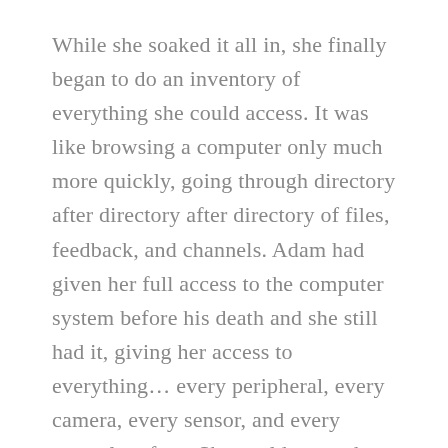While she soaked it all in, she finally began to do an inventory of everything she could access. It was like browsing a computer only much more quickly, going through directory after directory after directory of files, feedback, and channels. Adam had given her full access to the computer system before his death and she still had it, giving her access to everything… every peripheral, every camera, every sensor, and every control surface. She could sense the Ark's smaller, less efficient maintenance drones, stored in their charging ports and waiting for commands. She could sense the reactor firing away, slowly burning through a trickle of hydrogen. She could sense their position in space, sensors showing her the pull of gravity on